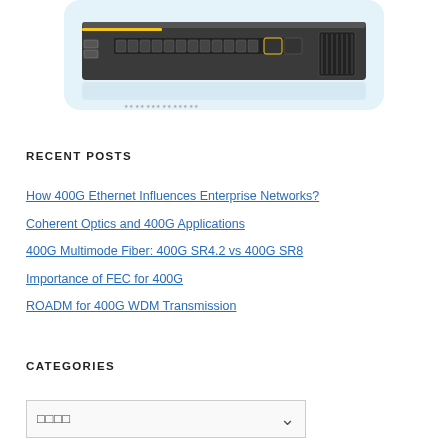[Figure (photo): A network switch device (rack-mountable) with fiber ports and fans, shown in a product photo on a light blue/white background.]
RECENT POSTS
How 400G Ethernet Influences Enterprise Networks?
Coherent Optics and 400G Applications
400G Multimode Fiber: 400G SR4.2 vs 400G SR8
Importance of FEC for 400G
ROADM for 400G WDM Transmission
CATEGORIES
□□□□